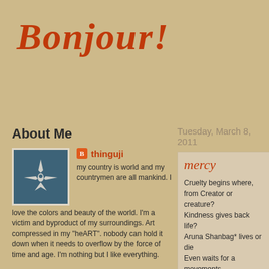Bonjour!
About Me
[Figure (illustration): Profile image: white star/bird shape on dark teal/blue background]
thinguji
my country is world and my countrymen are all mankind. I love the colors and beauty of the world. I'm a victim and byproduct of my surroundings. Art compressed in my "heART". nobody can hold it down when it needs to overflow by the force of time and age. I'm nothing but I like everything.
Tuesday, March 8, 2011
mercy
Cruelty begins where,
from Creator or creature?
Kindness gives back life?
Aruna Shanbag* lives or die
Even waits for a movements
No, she lives with Angels
Angel of Earth and Heaven
Nurses and children of Heav
But, not said yet!